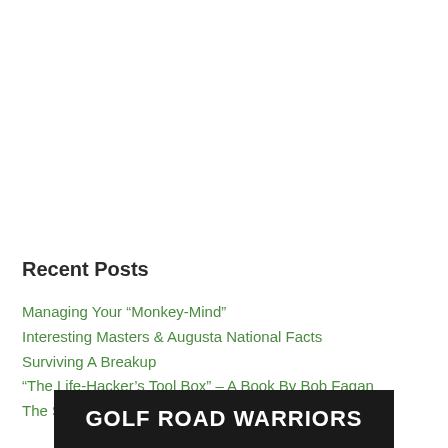Recent Posts
Managing Your “Monkey-Mind”
Interesting Masters & Augusta National Facts
Surviving A Breakup
“The Life-Hacker’s Tool Box” – A Book By Bob Fagan
The Scots Originated Golf? Not Exactly
[Figure (other): Golf Road Warriors banner with white bold text on dark/black background]